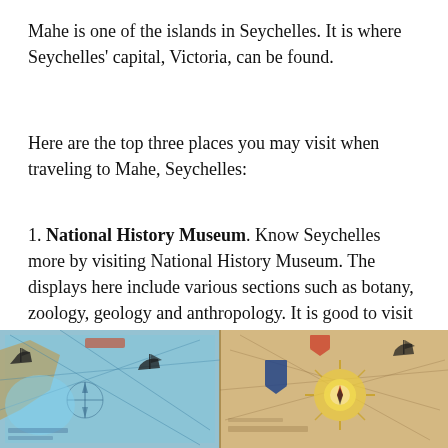Mahe is one of the islands in Seychelles. It is where Seychelles' capital, Victoria, can be found.
Here are the top three places you may visit when traveling to Mahe, Seychelles:
1. National History Museum. Know Seychelles more by visiting National History Museum. The displays here include various sections such as botany, zoology, geology and anthropology. It is good to visit to gain deeper understanding of the country.
[Figure (photo): A photograph of an old nautical/historical map displayed at the National History Museum, showing ships, coastlines, and decorative compass rose elements.]